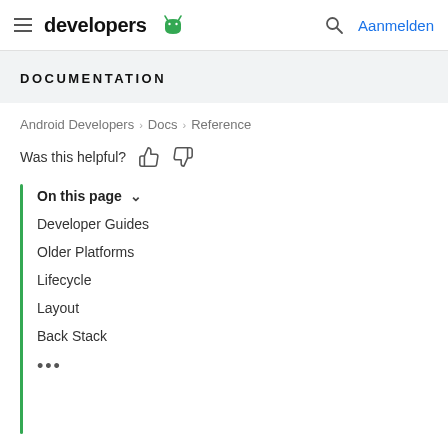developers [android logo] | Aanmelden
DOCUMENTATION
Android Developers > Docs > Reference
Was this helpful? [thumbs up] [thumbs down]
On this page
Developer Guides
Older Platforms
Lifecycle
Layout
Back Stack
•••
Added in API level 11
Deprecated in API level 28